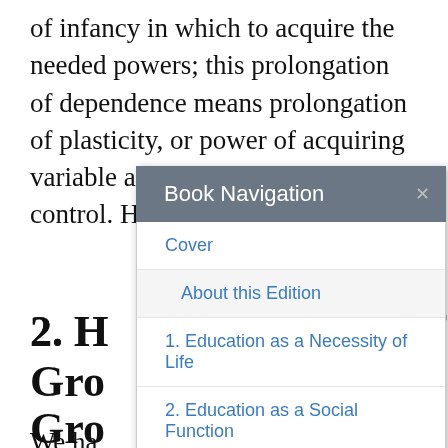of infancy in which to acquire the needed powers; this prolongation of dependence means prolongation of plasticity, or power of acquiring variable and novel modes of control. Hence it provides...
[Figure (screenshot): Book Navigation modal dialog overlaying the page content, with header 'Book Navigation' and an X close button, containing navigation links: Cover, About this Edition, 1. Education as a Necessity of Life, 2. Education as a Social Function]
2. H... s of Gro...
We ha... e capacity to retain and carry over from prior experience factors which modify subsequent activities. This signifies the capacity to acquire habits, or develop definite dispositions. We have